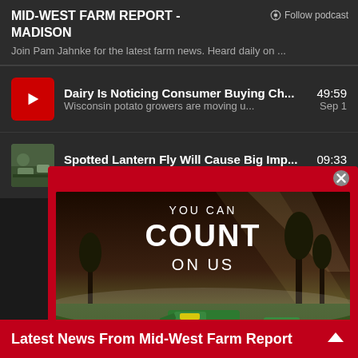MID-WEST FARM REPORT - MADISON
Follow podcast
Join Pam Jahnke for the latest farm news. Heard daily on ...
Dairy Is Noticing Consumer Buying Ch... | 49:59 | Wisconsin potato growers are moving u... | Sep 1
Spotted Lantern Fly Will Cause Big Imp... | 09:33 | A new invasive insect is moving across t... | Sep 1
[Figure (screenshot): John Deere / Mid-State Equipment advertisement banner showing green farm equipment (tractors, mowers, utility vehicles) on a grass field with text 'YOU CAN COUNT ON US' and 'JOHN DEERE | MID-STATE EQUIPMENT' logos]
Latest News From Mid-West Farm Report